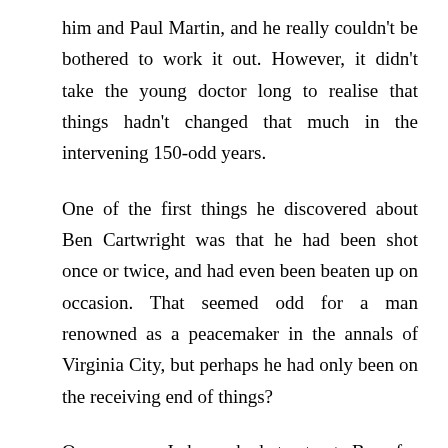him and Paul Martin, and he really couldn't be bothered to work it out. However, it didn't take the young doctor long to realise that things hadn't changed that much in the intervening 150-odd years.
One of the first things he discovered about Ben Cartwright was that he had been shot once or twice, and had even been beaten up on occasion. That seemed odd for a man renowned as a peacemaker in the annals of Virginia City, but perhaps he had only been on the receiving end of things?
Once more I have had to treat Ben for laryngitis. Of course, he knows that shouting goes for his voice, but if I were father to Joe, I suppose I'd do a lot of shouting, too! All I can suggest is gargling with saltwater, and